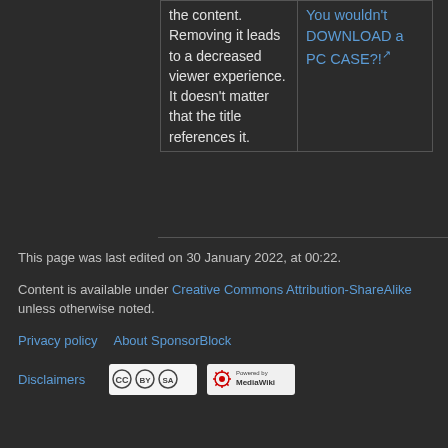| the content. Removing it leads to a decreased viewer experience. It doesn't matter that the title references it. | You wouldn't DOWNLOAD a PC CASE?! [ext] |
This page was last edited on 30 January 2022, at 00:22.
Content is available under Creative Commons Attribution-ShareAlike unless otherwise noted.
Privacy policy   About SponsorBlock
[Figure (logo): Creative Commons BY-SA license badge]
[Figure (logo): Powered by MediaWiki badge]
Disclaimers